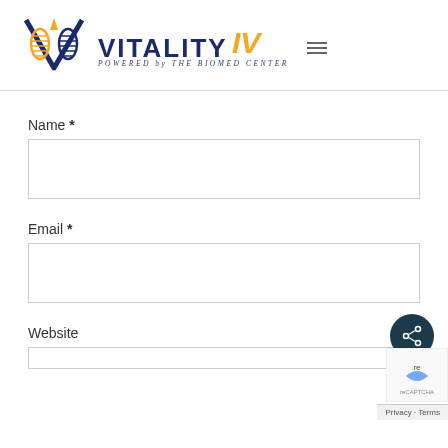[Figure (logo): Vitality IV logo with DNA helix icon in blue and gold, text reads VITALITY IV POWERED by The BioMed Center]
Name *
Email *
Website